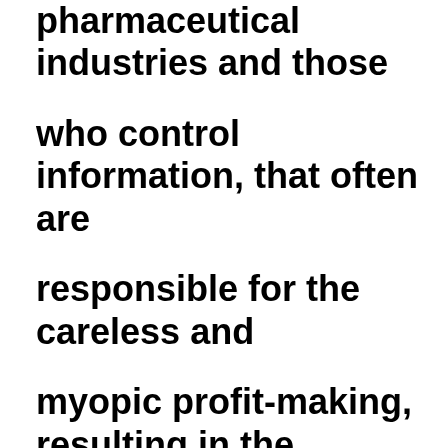pharmaceutical industries and those who control information, that often are responsible for the careless and myopic profit-making, resulting in the path of destruction of the environment and eradication of many of the species. The imbalance of wealth, lack of education and instability of the